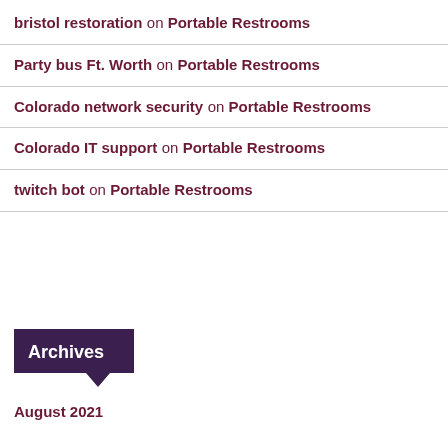bristol restoration on Portable Restrooms
Party bus Ft. Worth on Portable Restrooms
Colorado network security on Portable Restrooms
Colorado IT support on Portable Restrooms
twitch bot on Portable Restrooms
Archives
August 2021